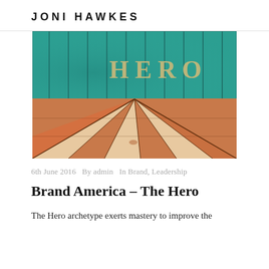JONI HAWKES
[Figure (photo): A wooden background scene with teal/turquoise painted vertical wood planks on the upper half and orange/red weathered wooden floor planks on the lower half. The word 'HERO' is written in large tan/beige block letters on the teal wall.]
6th June 2016   By admin   In Brand, Leadership
Brand America – The Hero
The Hero archetype exerts mastery to improve the